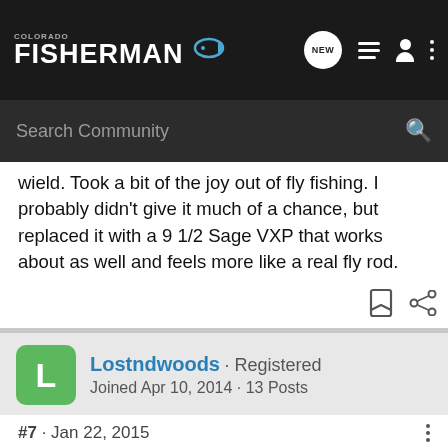COLORADO FISHERMAN
Search Community
wield. Took a bit of the joy out of fly fishing. I probably didn't give it much of a chance, but replaced it with a 9 1/2 Sage VXP that works about as well and feels more like a real fly rod.
Lostndwoods · Registered
Joined Apr 10, 2014 · 13 Posts
#7 · Jan 22, 2015
I love my Beulah 5/6. I cut the butt off and put on a quick thread to turn it into a true single hander/switch. Supper versatile, light enough to cast dry flies without the butt, burly enough to pick up, toss and swing a "Sex Dungeon" accross the Colorado with